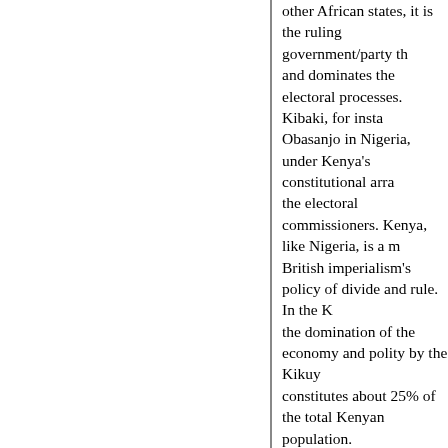other African states, it is the ruling government/party that controls and dominates the electoral processes. Kibaki, for instance, like Obasanjo in Nigeria, under Kenya's constitutional arrangements appoints the electoral commissioners. Kenya, like Nigeria, is a multi-ethnic state, a product of British imperialism's policy of divide and rule. In the Kenyan case it is the domination of the economy and polity by the Kikuyu ethnic group, which constitutes about 25% of the total Kenyan population.
Meanwhile, it must never be forgotten that one of the manifestations of the ongoing protest has unfortunately acquired 'ethnic cleansing' dimensions as a result of the widespread belief in non-Kikuyu parts of Kenya that Kikuyu people stand the best chance to thrive economically and politically. But simply cancelling the fraudulent victory awarded to Kibaki in the December election, without altering the status quo, would not in and of itself address the issues being raised by the Kenyan masses.
Similarly, it is very important to stress the point that the call for a government of national unity in the given Kenyan situation can, at best, only be a ruling class conspiracy against the interests of the masses. It has not gained much ground. Odinga, for instance, said that Kibaki must step down as a precondition for his party's acceptance of this formula. Whether he steps down or not, the acceptance of a government of national unity formula would only bring about a situation where a few principal politicians' careers will get materially and politically settled through greater integration into the rotten capitalist state structure. While this, of course, may put a cap on the raging violence, it will only leave the mass of Kenyans without a fundamental solution.
Missing link
WHATEVER POLITICAL FORMULA are implemented